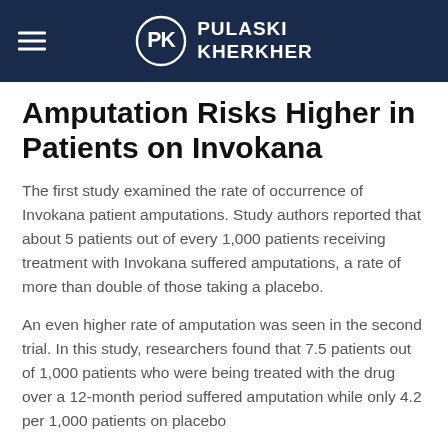PULASKI KHERKHER
Amputation Risks Higher in Patients on Invokana
The first study examined the rate of occurrence of Invokana patient amputations. Study authors reported that about 5 patients out of every 1,000 patients receiving treatment with Invokana suffered amputations, a rate of more than double of those taking a placebo.
An even higher rate of amputation was seen in the second trial. In this study, researchers found that 7.5 patients out of 1,000 patients who were being treated with the drug over a 12-month period suffered amputation while only 4.2 per 1,000 patients on placebo